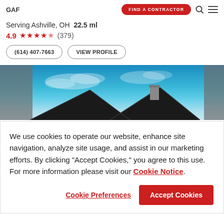[Figure (logo): GAF logo in top-left corner]
FIND A CONTRACTOR
Serving Ashville, OH  22.5 ml
4.9 ★★★★☆ (379)
(614) 407-7663
VIEW PROFILE
[Figure (photo): Photo of house roof against blue sky with chimney visible]
We use cookies to operate our website, enhance site navigation, analyze site usage, and assist in our marketing efforts. By clicking "Accept Cookies," you agree to this use. For more information please visit our Cookie Notice.
Cookie Preferences
Accept Cookies